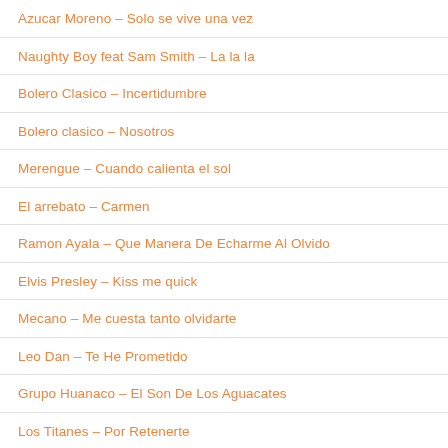Azucar Moreno – Solo se vive una vez
Naughty Boy feat Sam Smith – La la la
Bolero Clasico – Incertidumbre
Bolero clasico – Nosotros
Merengue – Cuando calienta el sol
El arrebato – Carmen
Ramon Ayala – Que Manera De Echarme Al Olvido
Elvis Presley – Kiss me quick
Mecano – Me cuesta tanto olvidarte
Leo Dan – Te He Prometido
Grupo Huanaco – El Son De Los Aguacates
Los Titanes – Por Retenerte